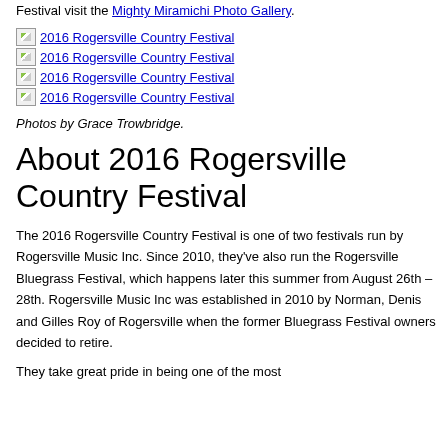Festival visit the Mighty Miramichi Photo Gallery.
[Figure (photo): 2016 Rogersville Country Festival (broken image link)]
[Figure (photo): 2016 Rogersville Country Festival (broken image link)]
[Figure (photo): 2016 Rogersville Country Festival (broken image link)]
[Figure (photo): 2016 Rogersville Country Festival (broken image link)]
Photos by Grace Trowbridge.
About 2016 Rogersville Country Festival
The 2016 Rogersville Country Festival is one of two festivals run by Rogersville Music Inc. Since 2010, they've also run the Rogersville Bluegrass Festival, which happens later this summer from August 26th – 28th. Rogersville Music Inc was established in 2010 by Norman, Denis and Gilles Roy of Rogersville when the former Bluegrass Festival owners decided to retire.
They take great pride in being one of the most